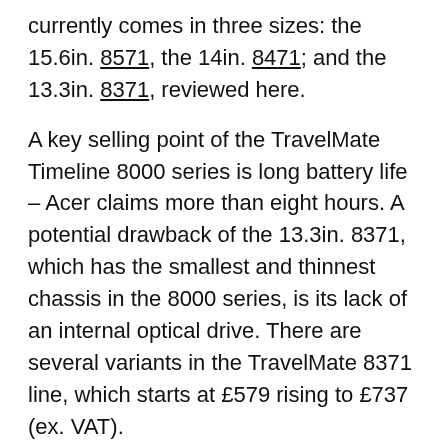currently comes in three sizes: the 15.6in. 8571, the 14in. 8471; and the 13.3in. 8371, reviewed here.
A key selling point of the TravelMate Timeline 8000 series is long battery life – Acer claims more than eight hours. A potential drawback of the 13.3in. 8371, which has the smallest and thinnest chassis in the 8000 series, is its lack of an internal optical drive. There are several variants in the TravelMate 8371 line, which starts at £579 rising to £737 (ex. VAT).
Design
The TravelMate 8371's livery is almost uniformly black, with just a few silver and grey highlights: there's nothing distinctive about its look, either